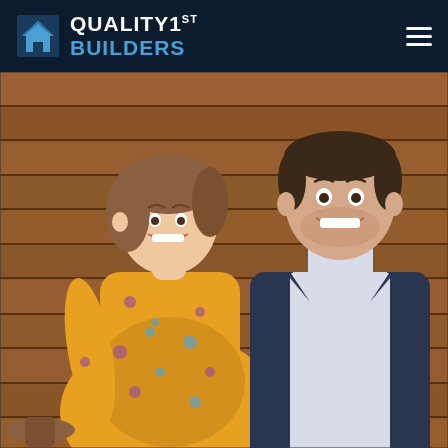Quality 1st Builders
[Figure (photo): A smiling couple posing together in front of a wooden plank wall. The woman on the left is wearing a yellow floral dress and the man on the right is wearing a dark navy suit. The woman appears to be pregnant.]